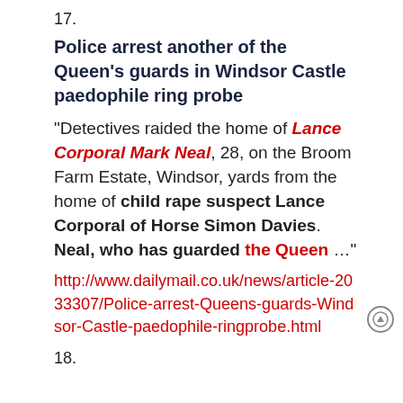17.
Police arrest another of the Queen's guards in Windsor Castle paedophile ring probe
"Detectives raided the home of Lance Corporal Mark Neal, 28, on the Broom Farm Estate, Windsor, yards from the home of child rape suspect Lance Corporal of Horse Simon Davies. Neal, who has guarded the Queen …"
http://www.dailymail.co.uk/news/article-2033307/Police-arrest-Queens-guards-Windsor-Castle-paedophile-ringprobe.html
18.